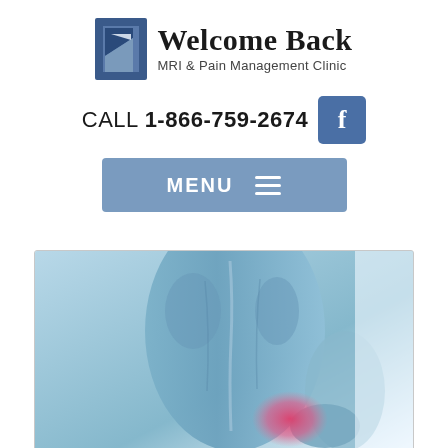[Figure (logo): Welcome Back MRI & Pain Management Clinic logo with stylized letter icon and text]
CALL 1-866-759-2674
[Figure (other): Facebook button icon (blue square with letter f)]
[Figure (other): Blue MENU navigation button with hamburger lines]
[Figure (photo): Medical photo of a person holding their lower back in pain, blue-tinted image with red highlight at lower back area]